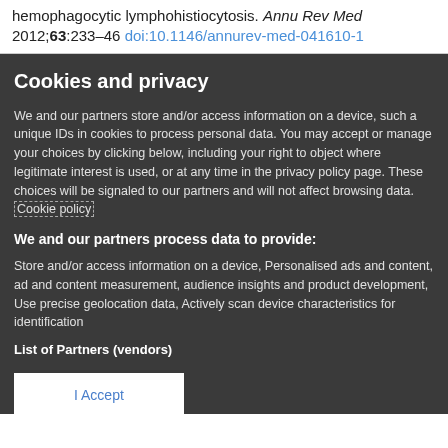hemophagocytic lymphohistiocytosis. Annu Rev Med 2012;63:233–46 doi:10.1146/annurev-med-041610-1
Cookies and privacy
We and our partners store and/or access information on a device, such a unique IDs in cookies to process personal data. You may accept or manage your choices by clicking below, including your right to object where legitimate interest is used, or at any time in the privacy policy page. These choices will be signaled to our partners and will not affect browsing data. Cookie policy
We and our partners process data to provide:
Store and/or access information on a device, Personalised ads and content, ad and content measurement, audience insights and product development, Use precise geolocation data, Actively scan device characteristics for identification
List of Partners (vendors)
I Accept